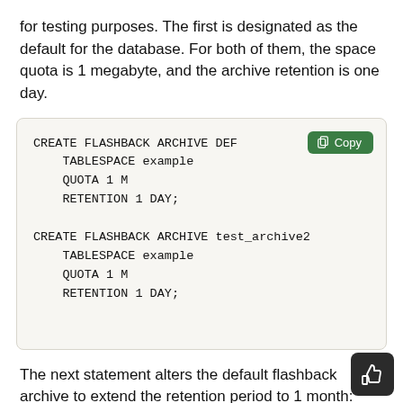for testing purposes. The first is designated as the default for the database. For both of them, the space quota is 1 megabyte, and the archive retention is one day.
[Figure (screenshot): Code block showing two CREATE FLASHBACK ARCHIVE SQL statements with a green Copy button overlay. First: CREATE FLASHBACK ARCHIVE DEFAULT (truncated) TABLESPACE example QUOTA 1 M RETENTION 1 DAY; Second: CREATE FLASHBACK ARCHIVE test_archive2 TABLESPACE example QUOTA 1 M RETENTION 1 DAY;]
The next statement alters the default flashback archive to extend the retention period to 1 month:
[Figure (screenshot): Bottom portion of a partially visible code block, cut off at bottom of page. A dark thumb-up button is visible at bottom right.]